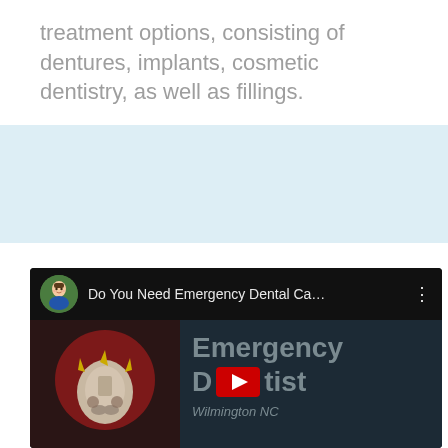treatment options, consisting of dentures, implants, cosmetic dentistry, as well as fillings.
[Figure (screenshot): YouTube video thumbnail screenshot showing a video titled 'Do You Need Emergency Dental Ca...' with an avatar of an animated male character, thumbnail image of a tooth with lightning bolts in a red circle, and text reading 'Emergency Dentist Wilmington NC' overlaid on a dark background.]